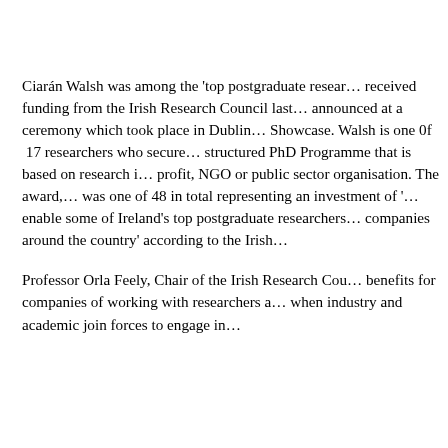Ciarán Walsh was among the 'top postgraduate researchers' who received funding from the Irish Research Council last year, as announced at a ceremony which took place in Dublin's RDS Showcase. Walsh is one 0f 17 researchers who secured a structured PhD Programme that is based on research in a not-for-profit, NGO or public sector organisation. The award, Walsh was one of 48 in total representing an investment of '€ to enable some of Ireland's top postgraduate researchers to work in companies around the country' according to the Irish
Professor Orla Feely, Chair of the Irish Research Council, 'The benefits for companies of working with researchers are clear… when industry and academic join forces to engage in